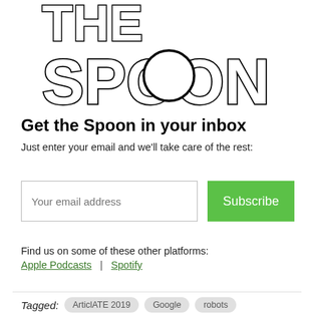[Figure (logo): The Spoon logo in large block outlined letters]
Get the Spoon in your inbox
Just enter your email and we'll take care of the rest:
Your email address [input field] Subscribe [button]
Find us on some of these other platforms:
Apple Podcasts  |  Spotify
Tagged:  ArticlATE 2019   Google   robots